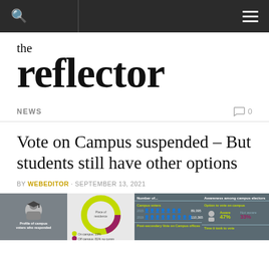the reflector
NEWS
Vote on Campus suspended – But students still have other options
BY WEBEDITOR · SEPTEMBER 13, 2021
[Figure (infographic): Infographic showing profile of campus voters who responded, a donut chart for place of residence, number of campus voters with icons (~89,095 and ~110,365), post-secondary Vote on Campus offices info, awareness among campus electors (option to vote on campus: aware 47%, not aware 33%), and time it took to vote.]